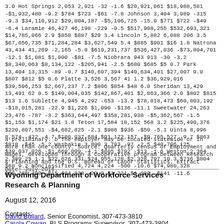3.0 Hot Springs 2,053 2,021 -32 -1.6 $20,921,061 $18,988,581 -$1,932,480 -9.2 $784 $723 -$61 -7.8 Johnson 3,404 3,089 -315 -9.3 $34,110,912 $29,004,187 -$5,106,725 -15.0 $771 $722 -$49 -6.4 Laramie 46,427 46,198 -229 -0.5 $517,908,255 $532,693,321 $14,785,066 2.9 $858 $887 $29 3.4 Lincoln 5,882 6,088 206 3.5 $67,656,735 $71,284,284 $3,627,549 5.4 $885 $901 $16 1.8 Natrona 43,434 41,269 -2,165 -5.0 $610,231,737 $536,427,036 -$73,804,701 -12.1 $1,081 $1,000 -$81 -7.5 Niobrara 943 913 -30 -3.2 $8,340,063 $8,134,122 -$205,941 -2.5 $680 $685 $5 0.7 Park 13,404 13,315 -89 -0.7 $140,607,394 $140,634,401 $27,007 0.0 $807 $812 $5 0.6 Platte 3,526 3,567 41 1.2 $36,929,016 $39,596,253 $2,667,237 7.2 $806 $854 $48 6.0 Sheridan 13,429 13,491 62 0.5 $140,004,035 $142,867,401 $2,863,366 2.0 $802 $815 $13 1.6 Sublette 4,945 4,292 -653 -13.2 $78,818,473 $60,803,192 -$18,015,281 -22.9 $1,226 $1,090 -$136 -11.1 Sweetwater 24,263 23,476 -787 -3.2 $363,644,497 $358,281,930 -$5,362,567 -1.5 $1,153 $1,174 $21 1.8 Teton 17,584 18,152 568 3.2 $225,490,376 $220,807,551 -$4,682,825 -2.1 $986 $936 -$50 -5.1 Uinta 8,996 8,574 -422 -4.7 $100,937,684 $91,172,157 -$9,765,527 -9.7 $863 $818 -$45 -5.2 Washakie 3,890 3,793 -97 -2.5 $40,706,125 $39,037,026 -$1,669,099 -4.1 $805 $792 -$13 -1.6 Weston 2,364 2,389 25 1.1 $22,626,331 $24,955,128 $2,328,797 10.3 $736 $804 $68 9.2 Nonclassified 4,724 4,224 -500 -10.6 $74,980,328 $59,285,490 -$15,694,838 -20.9 $1,221 $1,080 -$141 -11.6
a preliminary. b The employer may be located statewide or in more than one county. Source: Quarterly Census of Employment and Wages, developed through a cooperative program between Research & Planning and the U.S. Bureau of Labor Statistics. Extract Date: July 2016.
Wyoming Department of Workforce Services
Research & Planning
August 12, 2016
Contacts:
David Bullard, Senior Economist, 307-473-3810
Carola Cowan, BLS Programs Supervisor, 307-473-3804